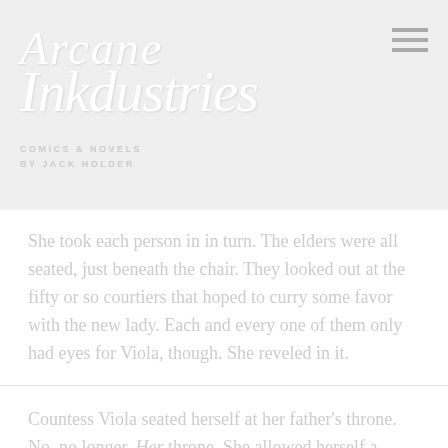[Figure (logo): Arcane Inkdustries logo in cursive/italic white text on light grey background, with subtitle 'COMICS & NOVELS BY JACK HOLDER']
She took each person in in turn. The elders were all seated, just beneath the chair. They looked out at the fifty or so courtiers that hoped to curry some favor with the new lady. Each and every one of them only had eyes for Viola, though. She reveled in it.
Countess Viola seated herself at her father's throne. No, no longer. Her throne. She allowed herself a small smile, and turned to the ideas...